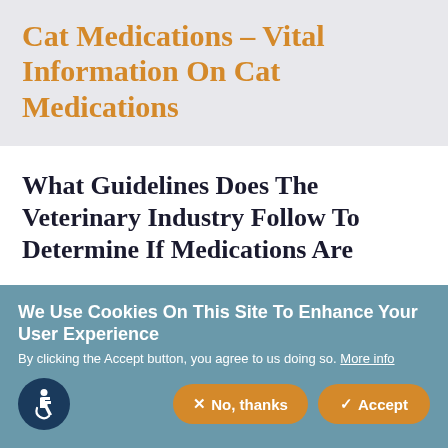Cat Medications – Vital Information On Cat Medications
What Guidelines Does The Veterinary Industry Follow To Determine If Medications Are
We Use Cookies On This Site To Enhance Your User Experience
By clicking the Accept button, you agree to us doing so. More info
[Figure (illustration): Accessibility icon: white wheelchair user symbol on dark blue circular background]
✕ No, thanks
✓ Accept